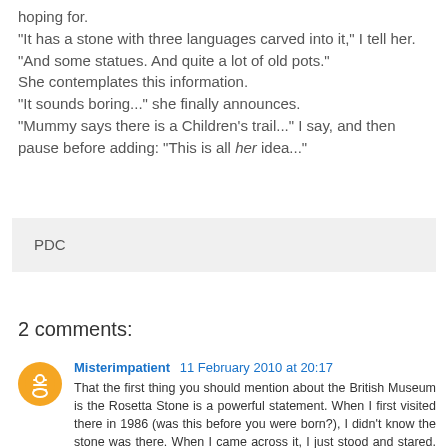hoping for. "It has a stone with three languages carved into it," I tell her. "And some statues. And quite a lot of old pots." She contemplates this information. "It sounds boring..." she finally announces. "Mummy says there is a Children's trail..." I say, and then pause before adding: "This is all her idea..."
PDC
2 comments:
Misterimpatient 11 February 2010 at 20:17
That the first thing you should mention about the British Museum is the Rosetta Stone is a powerful statement. When I first visited there in 1986 (was this before you were born?), I didn't know the stone was there. When I came across it, I just stood and stared. And bought the 4 inch miniature reproduction, which I have around here someplace. I think.